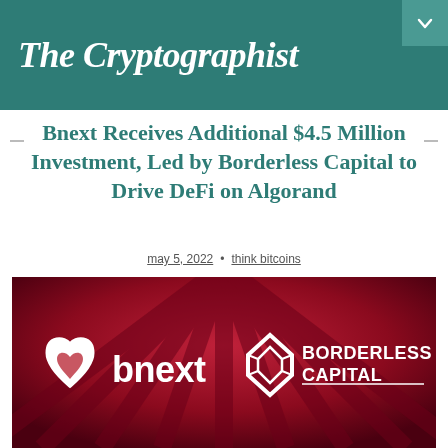The Cryptographist
Bnext Receives Additional $4.5 Million Investment, Led by Borderless Capital to Drive DeFi on Algorand
may 5, 2022 · think bitcoins
[Figure (photo): Red promotional banner with dark ray burst background showing bnext logo (heart-shaped icon with 'bnext' text) and Borderless Capital logo (geometric diamond shape with 'BORDERLESS CAPITAL' text), white logos on dark red/crimson background]